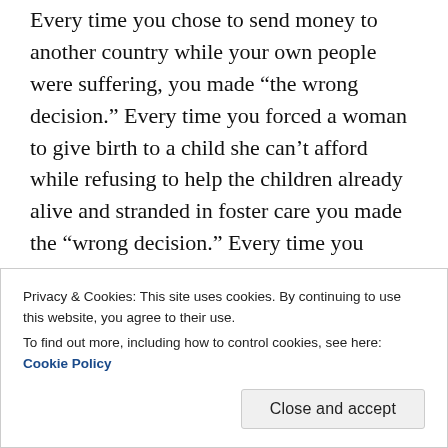Every time you chose to send money to another country while your own people were suffering, you made “the wrong decision.” Every time you forced a woman to give birth to a child she can’t afford while refusing to help the children already alive and stranded in foster care you made the “wrong decision.” Every time you chose to not raise the minimum wage so that woman could afford to be a mother you made “the wrong decision.” Creating jobs is insufficient. Making more money off someone’s efforts than they do isn’t benefiting them. It’s gaslighting them. Taking one-third of their life and not paying them enough to do anything
Privacy & Cookies: This site uses cookies. By continuing to use this website, you agree to their use.
To find out more, including how to control cookies, see here: Cookie Policy
Close and accept